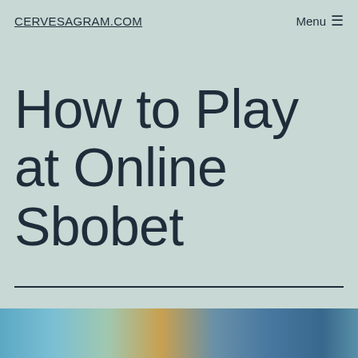CERVESAGRAM.COM  Menu ☰
How to Play at Online Sbobet
[Figure (photo): Partially visible photo strip at bottom of page showing colorful outdoor scene]